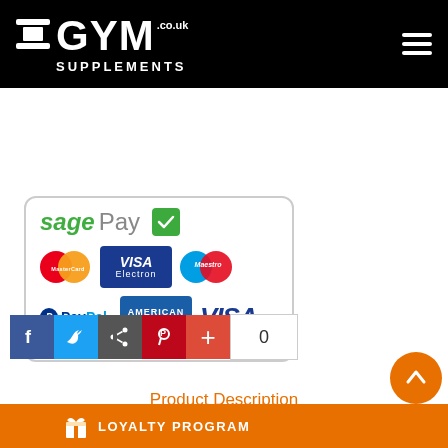[Figure (logo): GYM Supplements .co.uk logo with dumbbell icon on black header bar]
[Figure (infographic): Sage Pay payment methods box showing MasterCard, Visa Electron, Maestro, PayPal, American Express, and Visa logos]
[Figure (infographic): Social sharing buttons: Facebook, Twitter, Share, Pinterest, Google Plus, with count of 0]
Product Description
Reviews
[Figure (infographic): Orange scroll-to-top circular button with upward arrow]
[Figure (infographic): Orange loyalty program banner with gift icon and text LOYALTY PROGRAM]